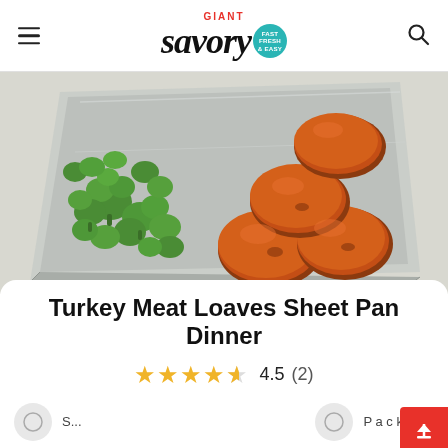GIANT savory (Fast Fresh & Easy)
[Figure (photo): Sheet pan with foil liner holding roasted turkey meat loaves and roasted broccoli florets on a white background]
Turkey Meat Loaves Sheet Pan Dinner
4.5 (2)